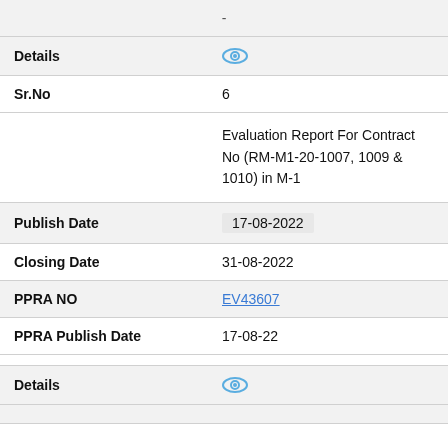| - |  |
| Details | 👁 |
| Sr.No | 6 |
|  | Evaluation Report For Contract No (RM-M1-20-1007, 1009 & 1010) in M-1 |
| Publish Date | 17-08-2022 |
| Closing Date | 31-08-2022 |
| PPRA NO | EV43607 |
| PPRA Publish Date | 17-08-22 |
| Details | 👁 |